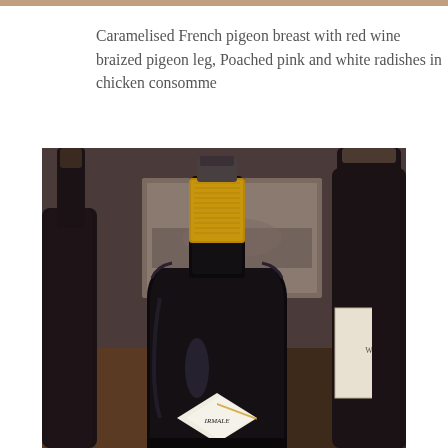Caramelised French pigeon breast with red wine braized pigeon leg, Poached pink and white radishes in chicken consomme
[Figure (photo): Close-up photograph of dark wine bottles, with one bottle in center foreground showing a gold foil capsule and a partial diamond-shaped label reading 'IRMALE' or similar text. Background shows more wine bottles and a blurred restaurant/bar interior with a sepia-toned artwork on the wall.]